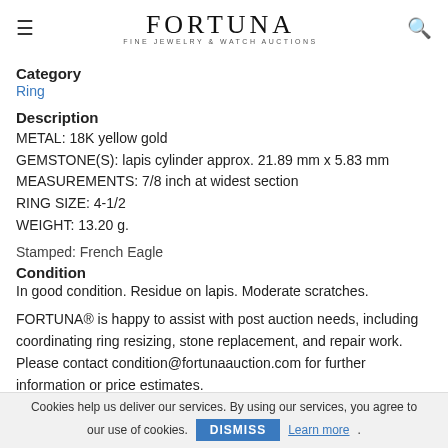FORTUNA FINE JEWELRY & WATCH AUCTIONS
Category
Ring
Description
METAL: 18K yellow gold
GEMSTONE(S): lapis cylinder approx. 21.89 mm x 5.83 mm
MEASUREMENTS: 7/8 inch at widest section
RING SIZE: 4-1/2
WEIGHT: 13.20 g.
Stamped: French Eagle
Condition
In good condition. Residue on lapis. Moderate scratches.
FORTUNA® is happy to assist with post auction needs, including coordinating ring resizing, stone replacement, and repair work. Please contact condition@fortunaauction.com for further information or price estimates.
Cookies help us deliver our services. By using our services, you agree to our use of cookies. DISMISS Learn more.